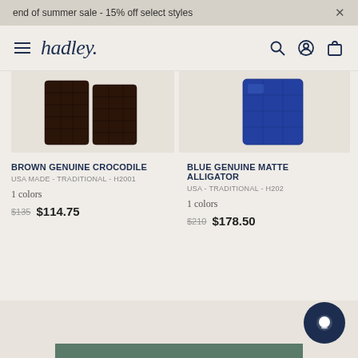end of summer sale - 15% off select styles
hadley.
[Figure (photo): Partial product image of Brown Genuine Crocodile wallet/billfold in dark brown crocodile texture]
BROWN GENUINE CROCODILE
USA MADE - TRADITIONAL - H2001
1 colors
$135  $114.75
[Figure (photo): Partial product image of Blue Genuine Matte Alligator item in blue color]
BLUE GENUINE MATTE ALLIGATOR
USA - TRADITIONAL - H202
1 colors
$210  $178.50